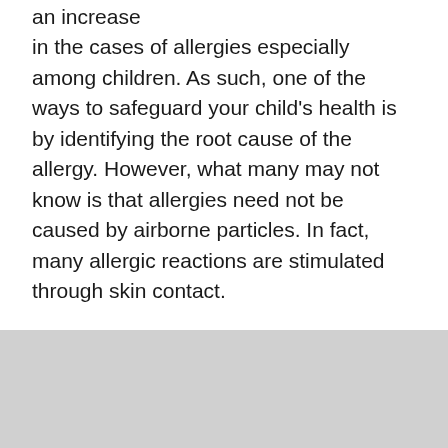an increase in the cases of allergies especially among children. As such, one of the ways to safeguard your child's health is by identifying the root cause of the allergy. However, what many may not know is that allergies need not be caused by airborne particles. In fact, many allergic reactions are stimulated through skin contact.
According to Philippine Society of Allergy, Asthma and Immunology (PSAAI), most people experience allergic reactions from dust and pollen. But some may also get allergies from mold spores, pet's hair or dander, as well as from common irritants such as perfumes or hair sprays, laundry detergents, among others, that can be found